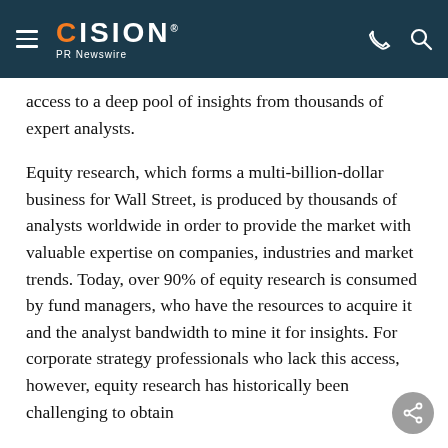CISION PR Newswire
access to a deep pool of insights from thousands of expert analysts.
Equity research, which forms a multi-billion-dollar business for Wall Street, is produced by thousands of analysts worldwide in order to provide the market with valuable expertise on companies, industries and market trends. Today, over 90% of equity research is consumed by fund managers, who have the resources to acquire it and the analyst bandwidth to mine it for insights. For corporate strategy professionals who lack this access, however, equity research has historically been challenging to obtain